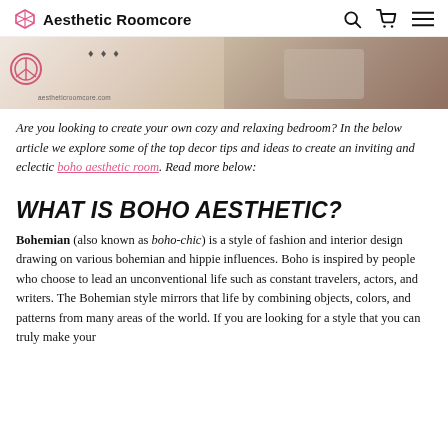Aesthetic Roomcore
[Figure (photo): Two-panel hero image strip: left panel shows a cozy bedroom scene with decorative elements and the watermark 'aestheticroomcore.com', right panel shows a person resting in bed with grey bedding.]
Are you looking to create your own cozy and relaxing bedroom? In the below article we explore some of the top decor tips and ideas to create an inviting and eclectic boho aesthetic room. Read more below:
WHAT IS BOHO AESTHETIC?
Bohemian (also known as boho-chic) is a style of fashion and interior design drawing on various bohemian and hippie influences. Boho is inspired by people who choose to lead an unconventional life such as constant travelers, actors, and writers. The Bohemian style mirrors that life by combining objects, colors, and patterns from many areas of the world. If you are looking for a style that you can truly make your